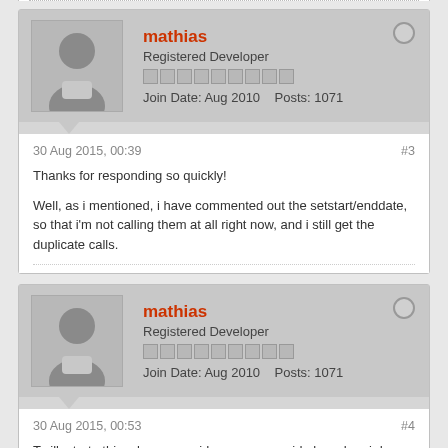mathias
Registered Developer
Join Date: Aug 2010    Posts: 1071
30 Aug 2015, 00:39
#3
Thanks for responding so quickly!
Well, as i mentioned, i have commented out the setstart/enddate, so that i'm not calling them at all right now, and i still get the duplicate calls.
mathias
Registered Developer
Join Date: Aug 2010    Posts: 1071
30 Aug 2015, 00:53
#4
To illustrate this, please consider my server-side log when i do NOT call the setDates methods.